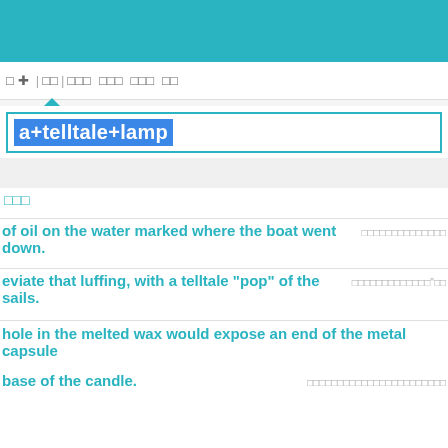[Figure (screenshot): Teal/cyan header bar at top of a mobile app or web interface]
□ ✛ | □□ | □□□ □□□ □□□ □□
a+telltale+lamp
□□□
of oil on the water marked where the boat went down.
□□□□□□□□□□□□□□
eviate that luffing, with a telltale "pop" of the sails.
□□□□□□□□□□□□□"□□
hole in the melted wax would expose an end of the metal capsule
base of the candle.
□□□□□□□□□□□□□□□□□□□□□□□